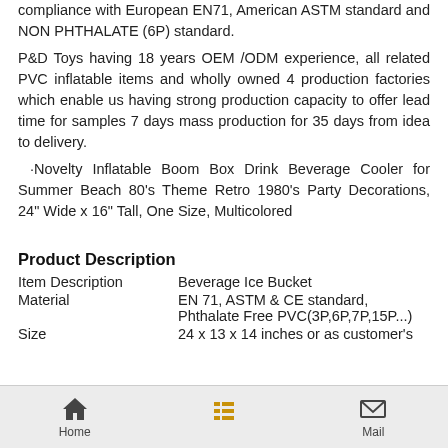compliance with European EN71, American ASTM standard and NON PHTHALATE (6P) standard.
P&D Toys having 18 years OEM /ODM experience, all related PVC inflatable items and wholly owned 4 production factories which enable us having strong production capacity to offer lead time for samples 7 days mass production for 35 days from idea to delivery.
·Novelty Inflatable Boom Box Drink Beverage Cooler for Summer Beach 80's Theme Retro 1980's Party Decorations, 24" Wide x 16" Tall, One Size, Multicolored
Product Description
| Item Description | Beverage Ice Bucket |
| Material | EN 71, ASTM & CE standard, Phthalate Free PVC(3P,6P,7P,15P...) |
| Size | 24 x 13 x 14 inches or as customer's |
Home | Menu | Mail